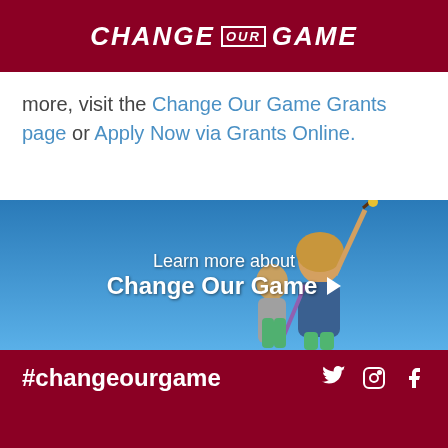CHANGE OUR GAME
more, visit the Change Our Game Grants page or Apply Now via Grants Online.
[Figure (photo): Two women holding sports equipment (lacrosse sticks) against a blue sky background, with text overlay 'Learn more about Change Our Game' with a right arrow.]
#changeourgame
Home
The Initiative